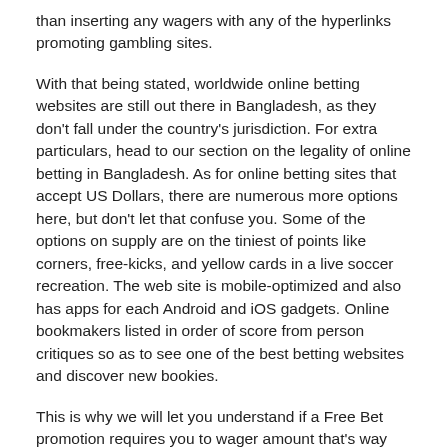than inserting any wagers with any of the hyperlinks promoting gambling sites.
With that being stated, worldwide online betting websites are still out there in Bangladesh, as they don't fall under the country's jurisdiction. For extra particulars, head to our section on the legality of online betting in Bangladesh. As for online betting sites that accept US Dollars, there are numerous more options here, but don't let that confuse you. Some of the options on supply are on the tiniest of points like corners, free-kicks, and yellow cards in a live soccer recreation. The web site is mobile-optimized and also has apps for each Android and iOS gadgets. Online bookmakers listed in order of score from person critiques so as to see one of the best betting websites and discover new bookies.
This is why we will let you understand if a Free Bet promotion requires you to wager amount that's way too huge before you'll have the ability to money out your winnings. The most common pay as you go card options that can be utilized at online sportsbooks include Paysafecard, Neosurf, as well as pay as you go cards powered by Visa or Mastercard. They will allow bettors to instantly deposit into their sports activities betting accounts and place their favorite bets every time they are in the temper for some